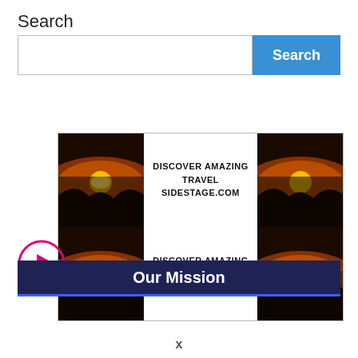Search
[Figure (screenshot): Search bar with text input field and blue Search button]
[Figure (infographic): Travel advertisement grid showing 4 sunset/ocean images with text DISCOVER AMAZING TRAVEL SIDESTAGE.COM repeated twice]
[Figure (other): Pink circle play button]
Our Mission
x